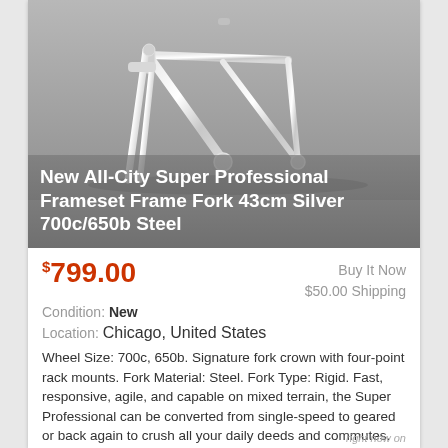[Figure (photo): Silver bicycle frameset with fork on grey background — All-City Super Professional]
New All-City Super Professional Frameset Frame Fork 43cm Silver 700c/650b Steel
$799.00
Buy It Now
$50.00 Shipping
Condition: New
Location: Chicago, United States
Wheel Size: 700c, 650b. Signature fork crown with four-point rack mounts. Fork Material: Steel. Fork Type: Rigid. Fast, responsive, agile, and capable on mixed terrain, the Super Professional can be converted from single-speed to geared or back again to crush all your daily deeds and commutes.
right now on